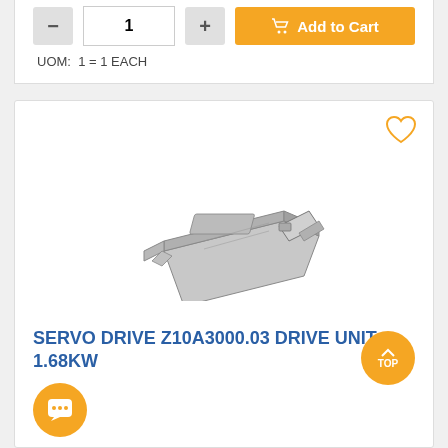UOM: 1 = 1 EACH
[Figure (illustration): Technical line drawing of a servo drive unit Z10A3000.03, shown in isometric view in gray tones]
SERVO DRIVE Z10A3000.03 DRIVE UNIT 1.68KW
Product code: 1244004
EMBOX
$142.26